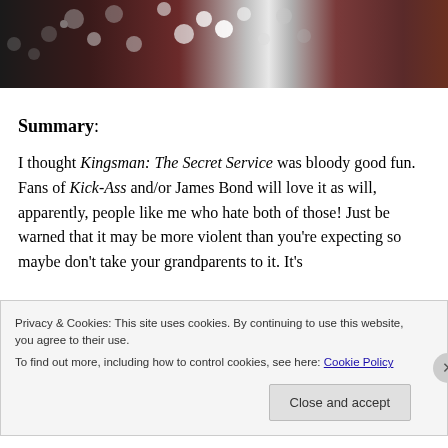[Figure (photo): Cropped top portion of a photograph showing sparkles and glitter against a dark reddish-brown background with bright white center highlight.]
Summary:
I thought Kingsman: The Secret Service was bloody good fun. Fans of Kick-Ass and/or James Bond will love it as will, apparently, people like me who hate both of those! Just be warned that it may be more violent than you're expecting so maybe don't take your grandparents to it. It's
Privacy & Cookies: This site uses cookies. By continuing to use this website, you agree to their use.
To find out more, including how to control cookies, see here: Cookie Policy
Close and accept